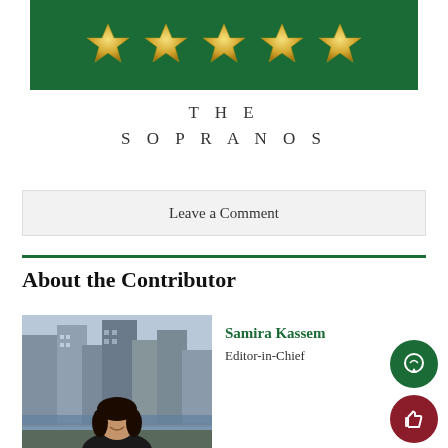[Figure (illustration): Five gold stars on a dark green background banner]
THE SOPRANOS
Leave a Comment
About the Contributor
[Figure (photo): Photo of Samira Kassem standing in front of city buildings near a waterway]
Samira Kassem
Editor-in-Chief